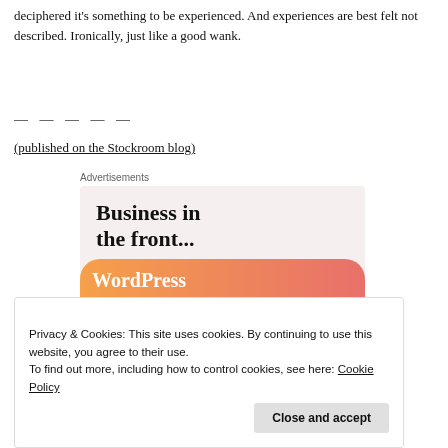deciphered it's something to be experienced. And experiences are best felt not described. Ironically, just like a good wank.
— — — — —
(published on the Stockroom blog)
[Figure (screenshot): Advertisement banner reading 'Business in the front...' with WordPress branding on an orange-pink gradient bar]
Privacy & Cookies: This site uses cookies. By continuing to use this website, you agree to their use. To find out more, including how to control cookies, see here: Cookie Policy